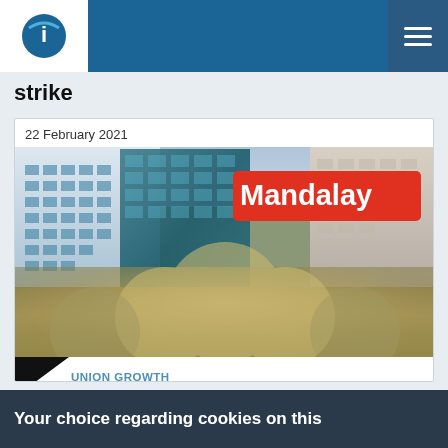ILO - navigation bar with logo and hamburger menu
strike
22 February 2021
[Figure (photo): Aerial view of massive protest crowd in Mandalay, with large buildings on either side of a street filled with people. Red label reading 'Mandalay' overlaid in upper right area of photo.]
UNION GROWTH
Your choice regarding cookies on this